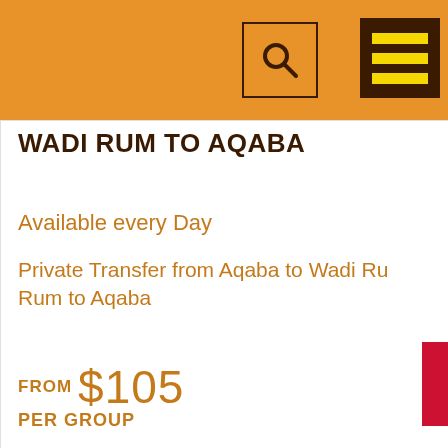[Figure (screenshot): Orange header bar with search icon in bordered box and hamburger menu icon in dark brown box with yellow lines]
WADI RUM TO AQABA
Available every Day
Private Transfer from Aqaba to Wadi Rum to Aqaba
FROM $105 PER GROUP